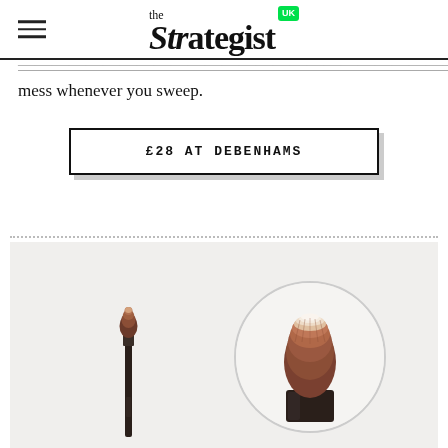the Strategist UK
mess whenever you sweep.
£28 AT DEBENHAMS
[Figure (photo): Two makeup brushes shown on a light grey background: a full-length slender eye blending brush on the left with a dark handle and rounded bristles, and a closeup inset of the brush head in a circle on the right showing rounded, dense bristles in brown and white tones with a short dark ferrule.]